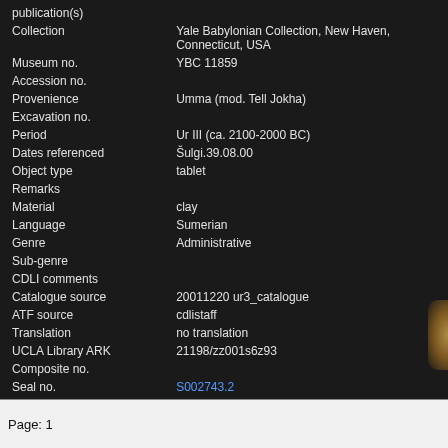| Field | Value |
| --- | --- |
| publication(s) |  |
| Collection | Yale Babylonian Collection, New Haven, Connecticut, USA |
| Museum no. | YBC 11859 |
| Accession no. |  |
| Provenience | Umma (mod. Tell Jokha) |
| Excavation no. |  |
| Period | Ur III (ca. 2100-2000 BC) |
| Dates referenced | Šulgi.39.08.00 |
| Object type | tablet |
| Remarks |  |
| Material | clay |
| Language | Sumerian |
| Genre | Administrative |
| Sub-genre |  |
| CDLI comments |  |
| Catalogue source | 20011220 ur3_catalogue |
| ATF source | cdlistaff |
| Translation | no translation |
| UCLA Library ARK | 21198/zz001s6z93 |
| Composite no. |  |
| Seal no. | S002743.2 |
| CDLI no. | P143437 |
Can you improve upon the content of this entry?
Please contact us!
Page: 1